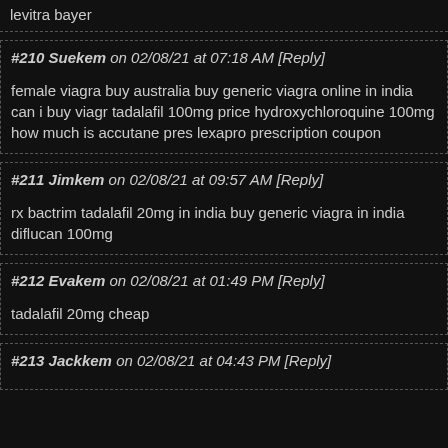levitra bayer
#210 Suekem on 02/08/21 at 07:18 AM [Reply]

female viagra buy australia buy generic viagra online in india can i buy viagra tadalafil 100mg price hydroxychloroquine 100mg how much is accutane prescription lexapro prescription coupon
#211 Jimkem on 02/08/21 at 09:57 AM [Reply]

rx bactrim tadalafil 20mg in india buy generic viagra in india diflucan 100mg
#212 Evakem on 02/08/21 at 01:49 PM [Reply]

tadalafil 20mg cheap
#213 Jackkem on 02/08/21 at 04:43 PM [Reply]